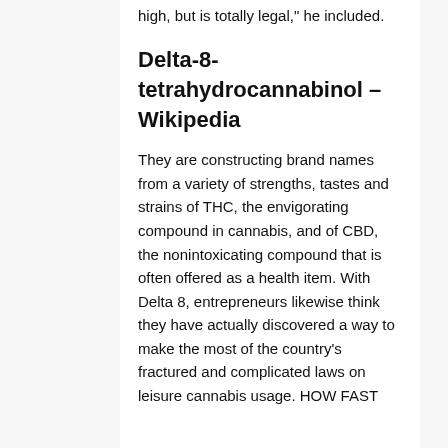high, but is totally legal," he included.
Delta-8-tetrahydrocannabinol – Wikipedia
They are constructing brand names from a variety of strengths, tastes and strains of THC, the envigorating compound in cannabis, and of CBD, the nonintoxicating compound that is often offered as a health item. With Delta 8, entrepreneurs likewise think they have actually discovered a way to make the most of the country's fractured and complicated laws on leisure cannabis usage. HOW FAST